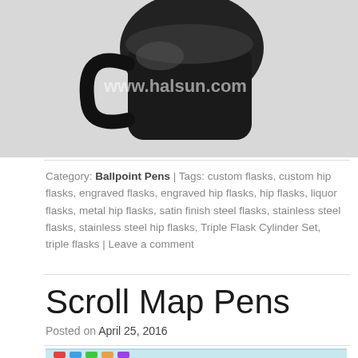[Figure (photo): Black flask/bottle product photo with watermark www.halsun.com]
Category: Ballpoint Pens | Tags: custom flasks, custom hip flasks, engraved flasks, engraved hip flasks, hip flasks, liquor flasks, metal hip flasks, satin finish steel flasks, stainless steel flasks, stainless steel hip flasks, Triple Flask Cylinder Set, triple flasks | Leave a comment
Scroll Map Pens
Posted on April 25, 2016
[Figure (photo): Colorful pens product photo (partially visible at bottom)]